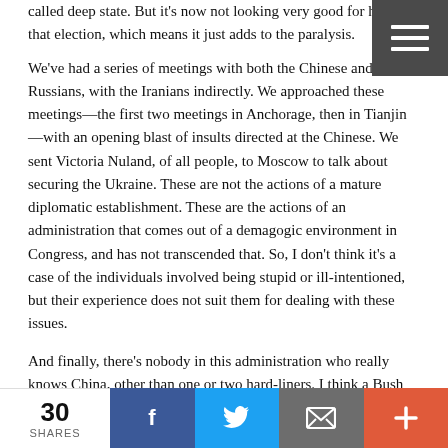called deep state. But it's now not looking very good for him in that election, which means it just adds to the paralysis.
We've had a series of meetings with both the Chinese and Russians, with the Iranians indirectly. We approached these meetings—the first two meetings in Anchorage, then in Tianjin—with an opening blast of insults directed at the Chinese. We sent Victoria Nuland, of all people, to Moscow to talk about securing the Ukraine. These are not the actions of a mature diplomatic establishment. These are the actions of an administration that comes out of a demagogic environment in Congress, and has not transcended that. So, I don't think it's a case of the individuals involved being stupid or ill-intentioned, but their experience does not suit them for dealing with these issues.
And finally, there's nobody in this administration who really knows China, other than one or two hard-liners. I think a Bush
30 SHARES | Facebook | Twitter | Email | +